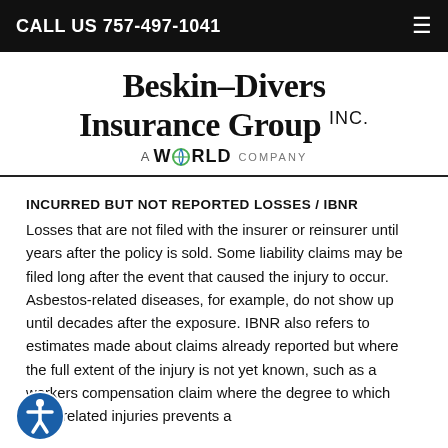CALL US 757-497-1041
[Figure (logo): Beskin-Divers Insurance Group INC. — A WORLD COMPANY logo]
INCURRED BUT NOT REPORTED LOSSES / IBNR
Losses that are not filed with the insurer or reinsurer until years after the policy is sold. Some liability claims may be filed long after the event that caused the injury to occur. Asbestos-related diseases, for example, do not show up until decades after the exposure. IBNR also refers to estimates made about claims already reported but where the full extent of the injury is not yet known, such as a workers compensation claim where the degree to which work-related injuries prevents a